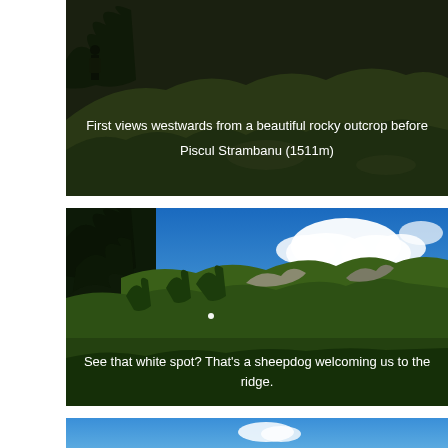[Figure (photo): Mountain landscape photo showing a person with a backpack on a rocky outcrop, surrounded by green forested hills. Caption overlaid in white text.]
First views westwards from a beautiful rocky outcrop before Piscul Strambanu (1511m)
[Figure (photo): Mountain ridge panorama under blue sky with white clouds. Green forested hillside with rocky outcrops. A white dot (sheepdog) visible on the ridge. Caption overlaid in white text.]
See that white spot? That's a sheepdog welcoming us to the ridge.
[Figure (photo): Partial view of blue sky with a small white cloud, bottom portion of page.]